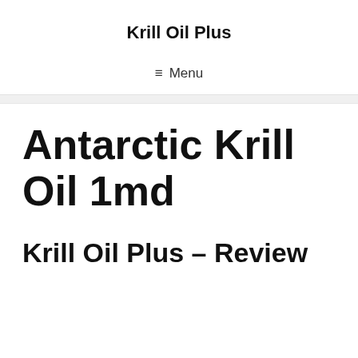Krill Oil Plus
≡ Menu
Antarctic Krill Oil 1md
Krill Oil Plus – Review